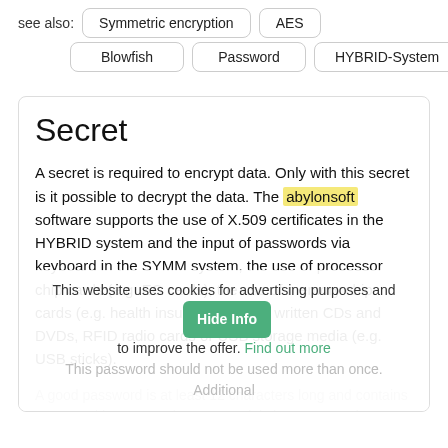see also:
Symmetric encryption
AES
Blowfish
Password
HYBRID-System
Secret
A secret is required to encrypt data. Only with this secret is it possible to decrypt the data. The abylonsoft software supports the use of X.509 certificates in the HYBRID system and the input of passwords via keyboard in the SYMM system, the use of processor chip cards (e.g. EC cards), the use of memory chip cards (e.g. health insurance cards), written CDs and DVDs, RFID radio cards or USB storage media (e.g. USB sticks).
A good password is at least 12 characters long and contains upper and lower case letters, special characters and numbers. This password should not be used more than once. Additional
This website uses cookies for advertising purposes and to improve the offer. Find out more
Hide Info